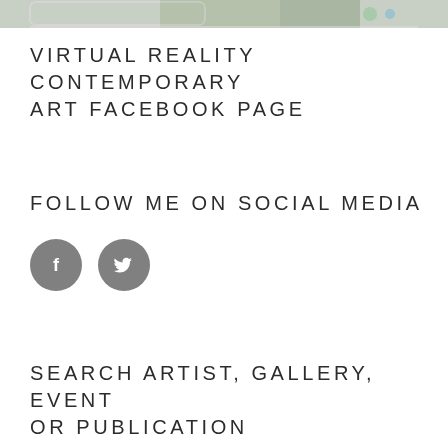[Figure (photo): Partial top strip of an art gallery interior photo with plants and circular light fixtures, shown at the very top of the page]
VIRTUAL REALITY CONTEMPORARY ART FACEBOOK PAGE
FOLLOW ME ON SOCIAL MEDIA
[Figure (infographic): Two circular social media icon buttons: Facebook (f) and Twitter (bird), both in grey]
SEARCH ARTIST, GALLERY, EVENT OR PUBLICATION